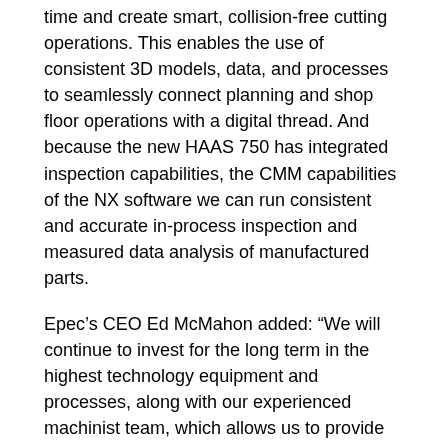time and create smart, collision-free cutting operations. This enables the use of consistent 3D models, data, and processes to seamlessly connect planning and shop floor operations with a digital thread. And because the new HAAS 750 has integrated inspection capabilities, the CMM capabilities of the NX software we can run consistent and accurate in-process inspection and measured data analysis of manufactured parts.
Epec's CEO Ed McMahon added: “We will continue to invest for the long term in the highest technology equipment and processes, along with our experienced machinist team, which allows us to provide customers with quicker lead times for more complex parts with ITAR compliant manufacturing capabilities.”
About Metal Craft Machining
Epec is one of the fastest-growing high technology electronics companies in North America, designing, and manufacturing high-reliability products including printed circuit boards, custom battery packs, user interfaces, RF products, cable